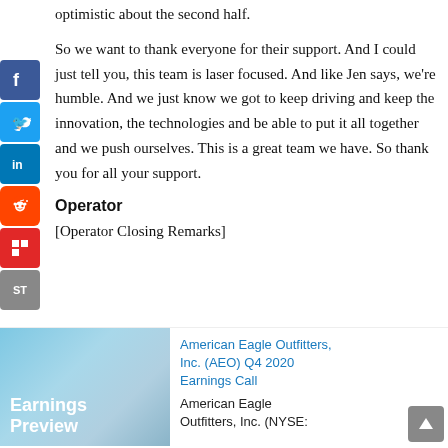optimistic about the second half.
So we want to thank everyone for their support. And I could just tell you, this team is laser focused. And like Jen says, we're humble. And we just know we got to keep driving and keep the innovation, the technologies and be able to put it all together and we push ourselves. This is a great team we have. So thank you for all your support.
Operator
[Operator Closing Remarks]
[Figure (other): Earnings Preview thumbnail image with teal/blue gradient background showing text 'Earnings Preview']
American Eagle Outfitters, Inc. (AEO) Q4 2020 Earnings Call
American Eagle Outfitters, Inc. (NYSE: